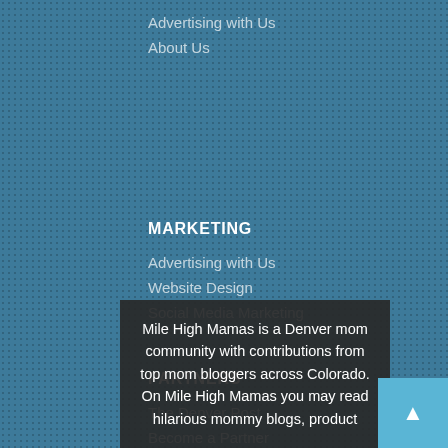Advertising with Us
About Us
MARKETING
Advertising with Us
Website Design
Social Media Marketing
PARTNERS
The Denver Post
Become a Partner
Mile High Mamas is a Denver mom community with contributions from top mom bloggers across Colorado. On Mile High Mamas you may read hilarious mommy blogs, product